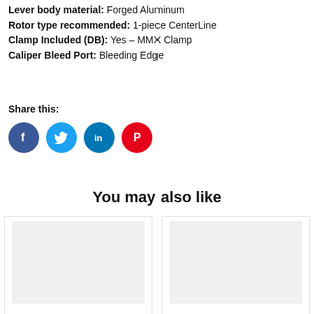Lever body material: Forged Aluminum
Rotor type recommended: 1-piece CenterLine
Clamp Included (DB): Yes – MMX Clamp
Caliper Bleed Port: Bleeding Edge
Share this:
[Figure (infographic): Social media share icons: Facebook (blue circle with f), Twitter (light blue circle with bird), LinkedIn (teal blue circle with in), Pinterest (red circle with P)]
You may also like
[Figure (photo): Product card placeholder image (light gray rectangle)]
[Figure (photo): Product card placeholder image (light gray rectangle)]